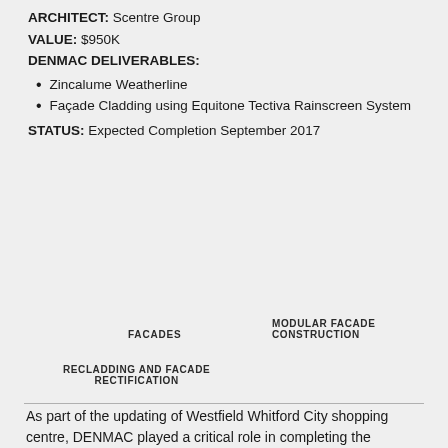ARCHITECT: Scentre Group
VALUE: $950K
DENMAC DELIVERABLES:
Zincalume Weatherline
Façade Cladding using Equitone Tectiva Rainscreen System
STATUS: Expected Completion September 2017
FACADES    MODULAR FACADE CONSTRUCTION
RECLADDING AND FACADE RECTIFICATION
As part of the updating of Westfield Whitford City shopping centre, DENMAC played a critical role in completing the